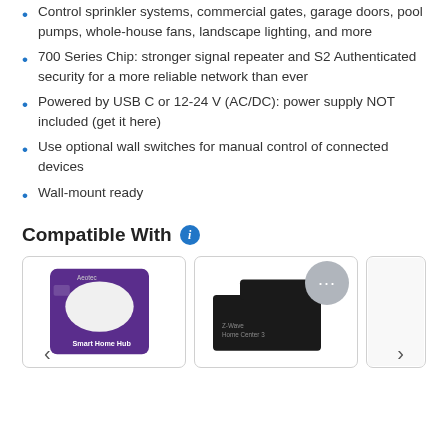Control sprinkler systems, commercial gates, garage doors, pool pumps, whole-house fans, landscape lighting, and more
700 Series Chip: stronger signal repeater and S2 Authenticated security for a more reliable network than ever
Powered by USB C or 12-24 V (AC/DC): power supply NOT included (get it here)
Use optional wall switches for manual control of connected devices
Wall-mount ready
Compatible With
[Figure (photo): Two product cards shown side by side: left card shows an Aeotec Smart Home Hub product box (white rounded device on purple background), right card shows a black Z-Wave Home Center 3 box set. A grey chat bubble icon with three dots overlaps the top-right area. Navigation arrows are visible at the bottom.]